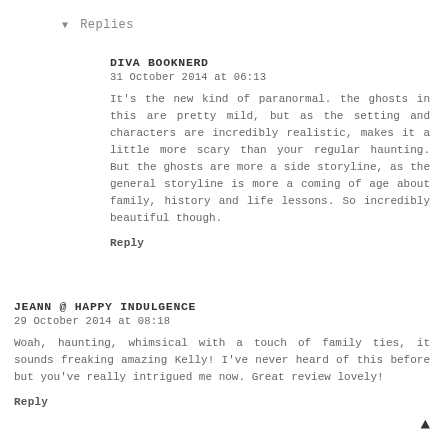▼ Replies
DIVA BOOKNERD
31 October 2014 at 06:13
It's the new kind of paranormal. the ghosts in this are pretty mild, but as the setting and characters are incredibly realistic, makes it a little more scary than your regular haunting. But the ghosts are more a side storyline, as the general storyline is more a coming of age about family, history and life lessons. So incredibly beautiful though.
Reply
JEANN @ HAPPY INDULGENCE
29 October 2014 at 08:18
Woah, haunting, whimsical with a touch of family ties, it sounds freaking amazing Kelly! I've never heard of this before but you've really intrigued me now. Great review lovely!
Reply